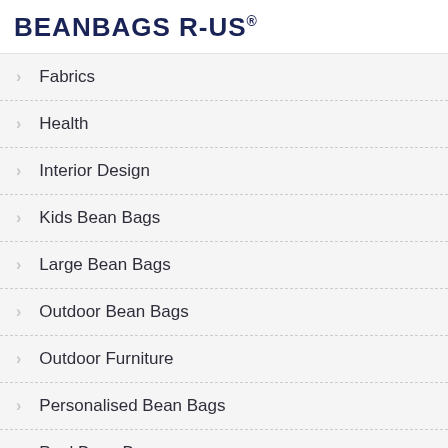BEANBAGS R-US®
Fabrics
Health
Interior Design
Kids Bean Bags
Large Bean Bags
Outdoor Bean Bags
Outdoor Furniture
Personalised Bean Bags
Pool Bean Bags
Go To Website
[Figure (photo): Water/pool surface with blue ripples, partially visible at bottom of page]